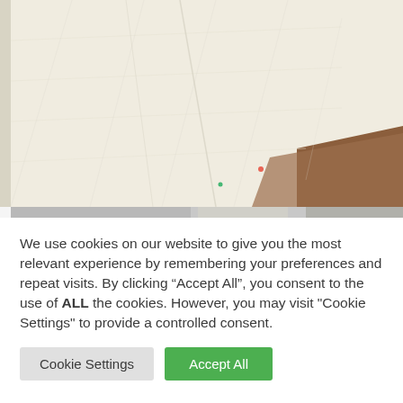[Figure (photo): Close-up photograph of a white/cream-colored quilted or stitched fabric laid flat on a wooden surface. The fabric has a textured pattern with faint stitch lines visible, and shows some small colored dots/pins. The bottom of the image shows a partial second photo.]
We use cookies on our website to give you the most relevant experience by remembering your preferences and repeat visits. By clicking “Accept All”, you consent to the use of ALL the cookies. However, you may visit "Cookie Settings" to provide a controlled consent.
Cookie Settings
Accept All